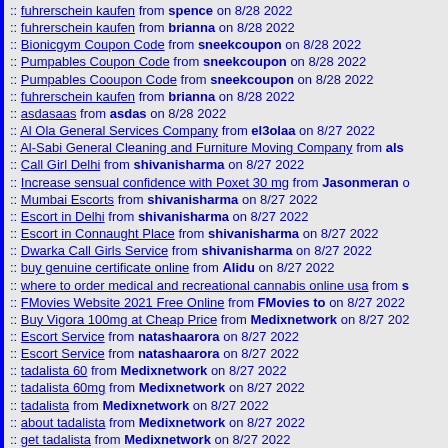fuhrerschein kaufen from spence on 8/28 2022
fuhrerschein kaufen from brianna on 8/28 2022
Bionicgym Coupon Code from sneekcoupon on 8/28 2022
Pumpables Coupon Code from sneekcoupon on 8/28 2022
Pumpables Cooupon Code from sneekcoupon on 8/28 2022
fuhrerschein kaufen from brianna on 8/28 2022
asdasaas from asdas on 8/28 2022
Al Ola General Services Company from el3olaa on 8/27 2022
Al-Sabi General Cleaning and Furniture Moving Company from als
Call Girl Delhi from shivanisharma on 8/27 2022
Increase sensual confidence with Poxet 30 mg from Jasonmeran o
Mumbai Escorts from shivanisharma on 8/27 2022
Escort in Delhi from shivanisharma on 8/27 2022
Escort in Connaught Place from shivanisharma on 8/27 2022
Dwarka Call Girls Service from shivanisharma on 8/27 2022
buy genuine certificate online from Alidu on 8/27 2022
where to order medical and recreational cannabis online usa from s
FMovies Website 2021 Free Online from FMovies to on 8/27 2022
Buy Vigora 100mg at Cheap Price from Medixnetwork on 8/27 202
Escort Service from natashaarora on 8/27 2022
Escort Service from natashaarora on 8/27 2022
tadalista 60 from Medixnetwork on 8/27 2022
tadalista 60mg from Medixnetwork on 8/27 2022
tadalista from Medixnetwork on 8/27 2022
about tadalista from Medixnetwork on 8/27 2022
get tadalista from Medixnetwork on 8/27 2022
buy tadalista from Medixnetwork on 8/27 2022
use vilitra from Medixnetwork on 8/27 2022
vilitra 40mg from Medixnetwork on 8/27 2022
get vilitra from Medixnetwork on 8/27 2022